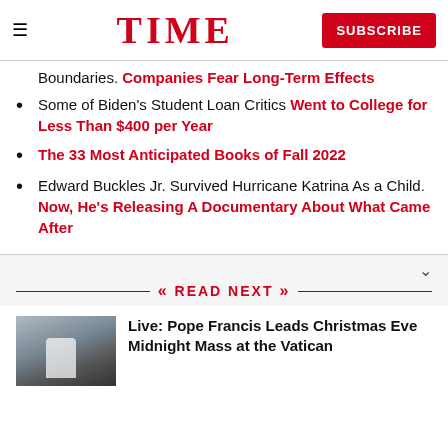TIME — SUBSCRIBE
Boundaries. Companies Fear Long-Term Effects
Some of Biden's Student Loan Critics Went to College for Less Than $400 per Year
The 33 Most Anticipated Books of Fall 2022
Edward Buckles Jr. Survived Hurricane Katrina As a Child. Now, He's Releasing A Documentary About What Came After
READ NEXT
[Figure (photo): Photo thumbnail of Pope Francis at the Vatican window]
Live: Pope Francis Leads Christmas Eve Midnight Mass at the Vatican